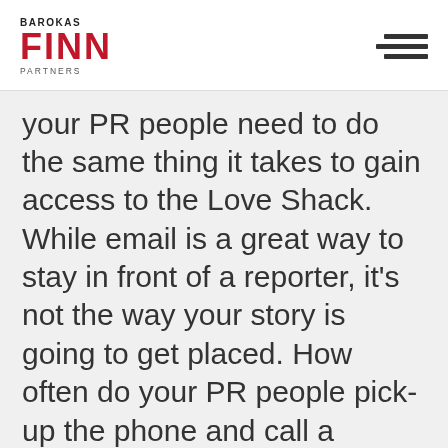BAROKAS FINN PARTNERS
your PR people need to do the same thing it takes to gain access to the Love Shack. While email is a great way to stay in front of a reporter, it’s not the way your story is going to get placed. How often do your PR people pick-up the phone and call a reporter? When they say they’ve “pitched,” ask them what that means.Â If it’s only an email, my advice: woo stay